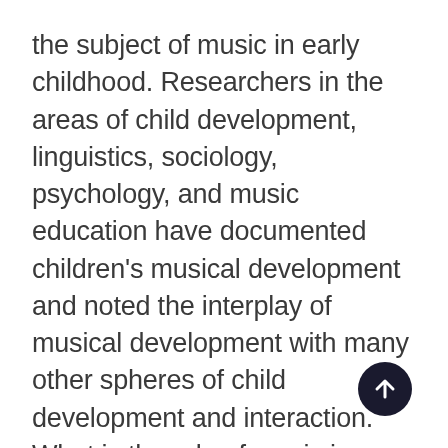the subject of music in early childhood. Researchers in the areas of child development, linguistics, sociology, psychology, and music education have documented children's musical development and noted the interplay of musical development with many other spheres of child development and interaction. What is the role of music in a child's holistic development? Could enriching musical experiences provide needed interventions to children considered "at-risk?" What is the "First 2000 Days" movement and how does music enter the equation? What types of music therapy are available for young children in medical, educational, and social settings, and what impact have we seen in these areas? In this course, students will explore these